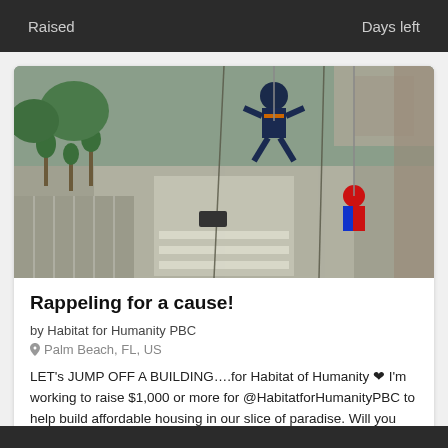Raised    Days left
[Figure (photo): Aerial photo taken from the top of a building showing a person rappeling down the side in dark blue gear with harness and orange accents, and another person dressed in a Spider-Man costume also rappeling, with city streets, palm trees, and a parking lot visible far below.]
Rappeling for a cause!
by Habitat for Humanity PBC
Palm Beach, FL, US
LET's JUMP OFF A BUILDING….for Habitat of Humanity ❤ I'm working to raise $1,000 or more for @HabitatforHumanityPBC to help build affordable housing in our slice of paradise. Will you help me reach my goal and rappel down Phillips Point!